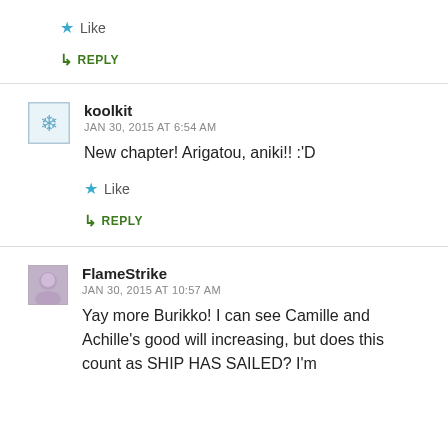Like
REPLY
koolkit
JAN 30, 2015 AT 6:54 AM
New chapter! Arigatou, aniki!! :'D
Like
REPLY
FlameStrike
JAN 30, 2015 AT 10:57 AM
Yay more Burikko! I can see Camille and Achille's good will increasing, but does this count as SHIP HAS SAILED? I'm